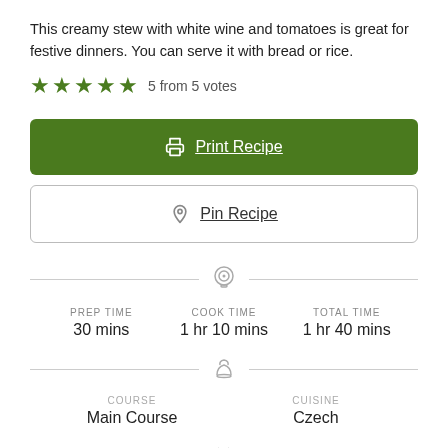This creamy stew with white wine and tomatoes is great for festive dinners. You can serve it with bread or rice.
5 from 5 votes
Print Recipe
Pin Recipe
PREP TIME 30 mins  COOK TIME 1 hr 10 mins  TOTAL TIME 1 hr 40 mins
COURSE Main Course  CUISINE Czech